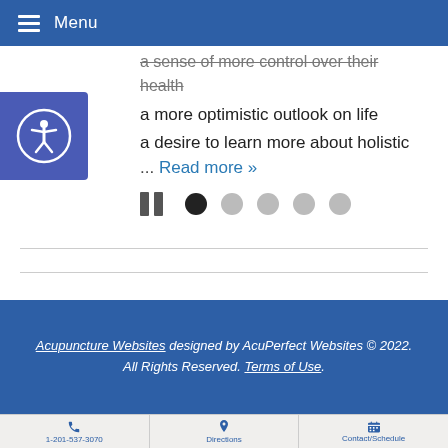Menu
a sense of more control over their health
a more optimistic outlook on life
a desire to learn more about holistic
... Read more »
[Figure (other): Carousel pause button and dot navigation indicators: one black (active) dot and four grey dots]
[Figure (other): Accessibility icon button on blue background showing person in circle]
Acupuncture Websites designed by AcuPerfect Websites © 2022. All Rights Reserved. Terms of Use.
1-201-537-3070 | Directions | Contact/Schedule